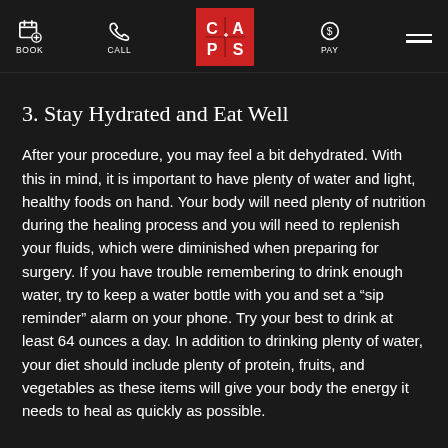BOOK | CALL | CAPS | PAY | menu
3. Stay Hydrated and Eat Well
After your procedure, you may feel a bit dehydrated. With this in mind, it is important to have plenty of water and light, healthy foods on hand. Your body will need plenty of nutrition during the healing process and you will need to replenish your fluids, which were diminished when preparing for surgery. If you have trouble remembering to drink enough water, try to keep a water bottle with you and set a “sip reminder” alarm on your phone. Try your best to drink at least 64 ounces a day. In addition to drinking plenty of water, your diet should include plenty of protein, fruits, and vegetables as these items will give your body the energy it needs to heal as quickly as possible.